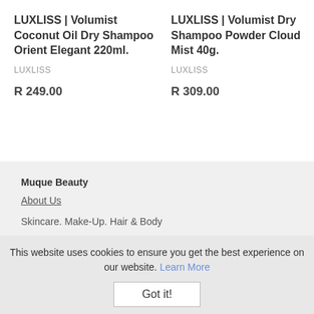LUXLISS | Volumist Coconut Oil Dry Shampoo Orient Elegant 220ml.
LUXLISS
R 249.00
LUXLISS | Volumist Dry Shampoo Powder Cloud Mist 40g.
LUXLISS
R 309.00
Muque Beauty
About Us
Skincare. Make-Up. Hair & Body
This website uses cookies to ensure you get the best experience on our website. Learn More
Got it!